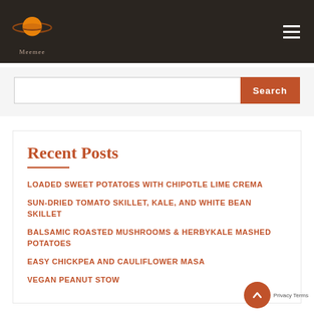[Figure (logo): Meemee website logo with planet/saturn icon in orange and dark brown, with text 'Meemee' below]
Search
Recent Posts
LOADED SWEET POTATOES WITH CHIPOTLE LIME CREMA
SUN-DRIED TOMATO SKILLET, KALE, AND WHITE BEAN SKILLET
BALSAMIC ROASTED MUSHROOMS & HERBYKALE MASHED POTATOES
EASY CHICKPEA AND CAULIFLOWER MASA
VEGAN PEANUT STOW